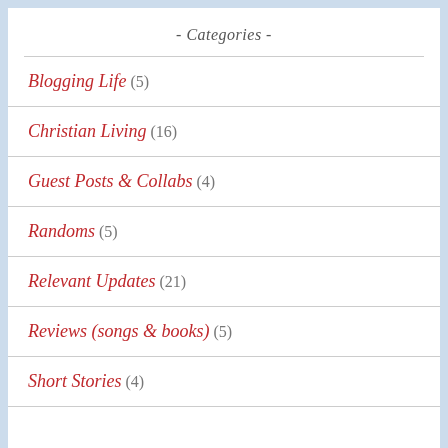- Categories -
Blogging Life (5)
Christian Living (16)
Guest Posts & Collabs (4)
Randoms (5)
Relevant Updates (21)
Reviews (songs & books) (5)
Short Stories (4)